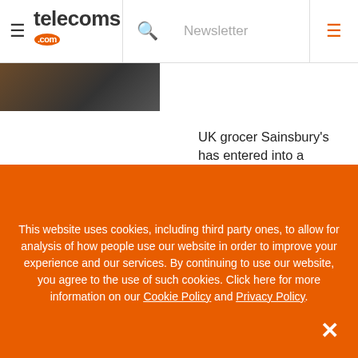telecoms.com — Navigation header with hamburger menu, search icon, Newsletter link, and menu icon
[Figure (photo): Partial thumbnail image of people in a store, cropped at top-left]
UK grocer Sainsbury's has entered into a Faustian bargain with etail leviathan Amazon to power its new cashierless stores.
16 Nov 2021
This website uses cookies, including third party ones, to allow for analysis of how people use our website in order to improve your experience and our services. By continuing to use our website, you agree to the use of such cookies. Click here for more information on our Cookie Policy and Privacy Policy.